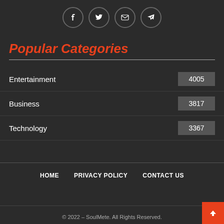[Figure (illustration): Four social media icon buttons in circles: Facebook, Twitter, Email, Telegram]
Popular Categories
Entertainment  4005
Business  3817
Technology  3367
HOME  PRIVACY POLICY  CONTACT US
© 2022 – SoulMete. All Rights Reserved.